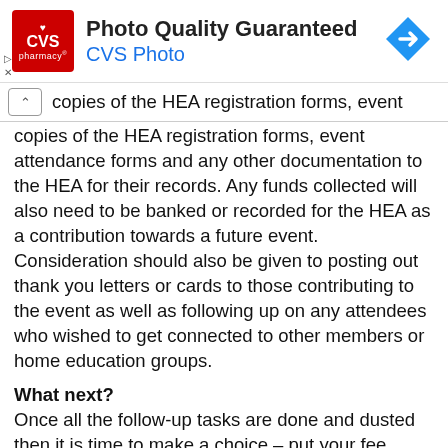[Figure (other): CVS Pharmacy advertisement banner with CVS logo, 'Photo Quality Guaranteed' heading, 'CVS Photo' subtitle, and a blue diamond arrow icon]
copies of the HEA registration forms, event attendance forms and any other documentation to the HEA for their records. Any funds collected will also need to be banked or recorded for the HEA as a contribution towards a future event. Consideration should also be given to posting out thank you letters or cards to those contributing to the event as well as following up on any attendees who wished to get connected to other members or home education groups.
What next?
Once all the follow-up tasks are done and dusted then it is time to make a choice – put your fee